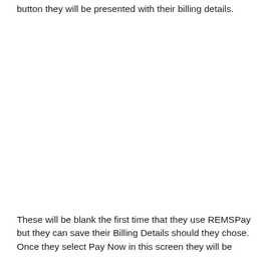button they will be presented with their billing details.
These will be blank the first time that they use REMSPay but they can save their Billing Details should they chose. Once they select Pay Now in this screen they will be